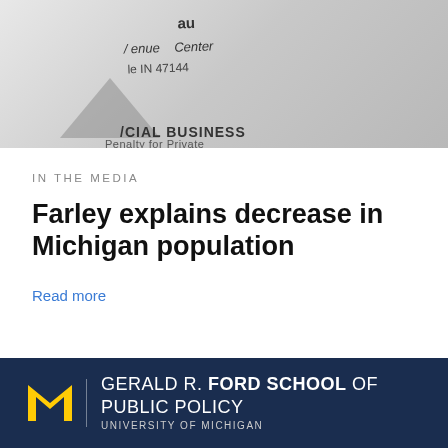[Figure (photo): Photograph of an envelope/mail piece showing partial text including 'OFFICIAL BUSINESS', 'Penalty for Private', an address with 'IN 47144', and a building/arrow graphic in the lower left corner. The image is cropped and rotated slightly.]
IN THE MEDIA
Farley explains decrease in Michigan population
Read more
GERALD R. FORD SCHOOL OF PUBLIC POLICY UNIVERSITY OF MICHIGAN